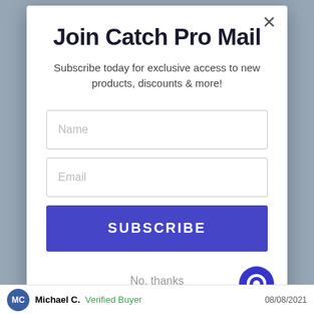[Figure (screenshot): Blurred website background behind modal dialog]
Join Catch Pro Mail
Subscribe today for exclusive access to new products, discounts & more!
[Figure (other): Name input field (empty, placeholder text 'Name')]
[Figure (other): Email input field (empty, placeholder text 'Email')]
[Figure (other): SUBSCRIBE button (blue background, white text)]
No, thanks
[Figure (other): Blue circular chat bubble icon, bottom right of modal]
Michael C.  Verified Buyer  08/08/2021